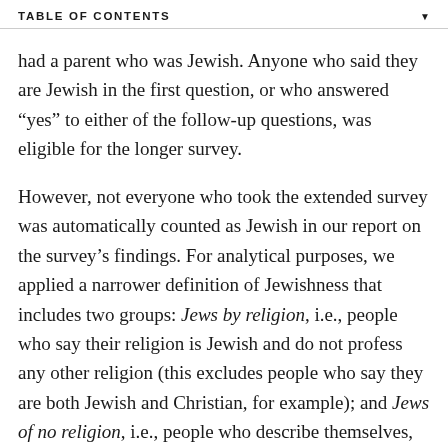TABLE OF CONTENTS
had a parent who was Jewish. Anyone who said they are Jewish in the first question, or who answered “yes” to either of the follow-up questions, was eligible for the longer survey.
However, not everyone who took the extended survey was automatically counted as Jewish in our report on the survey’s findings. For analytical purposes, we applied a narrower definition of Jewishness that includes two groups: Jews by religion, i.e., people who say their religion is Jewish and do not profess any other religion (this excludes people who say they are both Jewish and Christian, for example); and Jews of no religion, i.e., people who describe themselves, religiously, as atheist, agnostic or “nothing in particular” but who had at least one Jewish parent or were raised Jewish, and who still consider themselves Jewish in some way (such as ethnically, culturally or because of their family background). For more information on